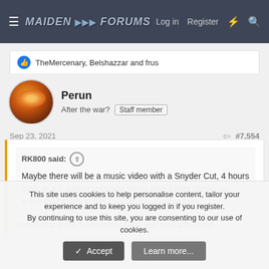Maiden Forums — Log in  Register
TheMercenary, Belshazzar and frus
Perun
After the war?  Staff member
Sep 23, 2021   #7,554
RK800 said: ↑

Maybe there will be a music video with a Snyder Cut, 4 hours long, in 4:3 aspect ratio and every time Eddie shows up, some crazy lady in the soundtrack starts yelling.

I need that extra 5 seconds of the Hell on Earth outro.
This site uses cookies to help personalise content, tailor your experience and to keep you logged in if you register.
By continuing to use this site, you are consenting to our use of cookies.
✓ Accept   Learn more...